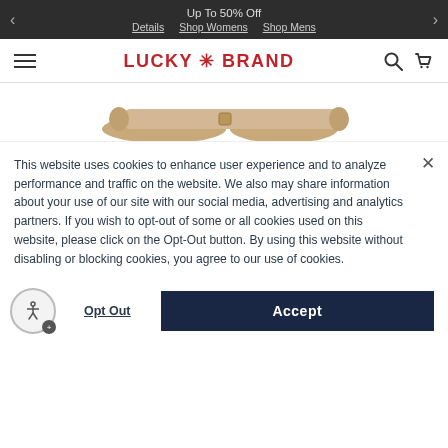Up To 50% Off  Details  Shop Womens  Shop Mens
[Figure (logo): Lucky Brand logo with red text and asterisk symbol, hamburger menu, search and cart icons in navigation bar]
[Figure (photo): Partial view of tan/gold-colored shoes or sandals]
This website uses cookies to enhance user experience and to analyze performance and traffic on the website. We also may share information about your use of our site with our social media, advertising and analytics partners. If you wish to opt-out of some or all cookies used on this website, please click on the Opt-Out button. By using this website without disabling or blocking cookies, you agree to our use of cookies.
Opt Out
Accept